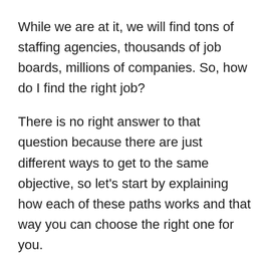While we are at it, we will find tons of staffing agencies, thousands of job boards, millions of companies. So, how do I find the right job?
There is no right answer to that question because there are just different ways to get to the same objective, so let's start by explaining how each of these paths works and that way you can choose the right one for you.
Let's begin with staffing firms, how they work, and how they can help you find a good job. Staffing agencies are companies that work –really hard– to help corporations find good employees, and help jobseekers find good jobs. They have many recruiters that are